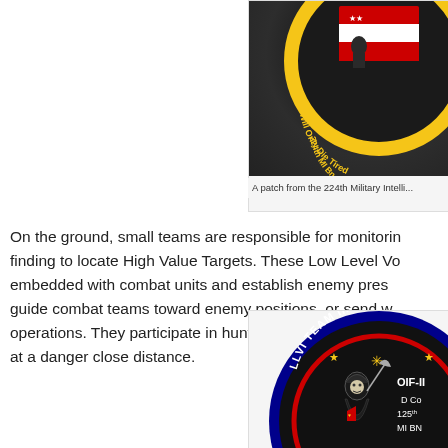[Figure (illustration): Partial view of a patch from the 224th Military Intelligence Battalion (AE) showing circular design with yellow text 'Will Only Die Tired' and '224th MI Bn (AE)' on a dark background with flag imagery]
A patch from the 224th Military Intelli...
On the ground, small teams are responsible for monitoring, finding to locate High Value Targets. These Low Level Vo... embedded with combat units and establish enemy pres... guide combat teams toward enemy positions, or send w... operations. They participate in hunting SOF targets and c... at a danger close distance.
[Figure (illustration): Circular military patch for LLVI Team III, OIF-II, D Co, 125th MI BN. Black background with blue border, red inner ring, grim reaper figure, stars and snowflake-like symbol, yellow text.]